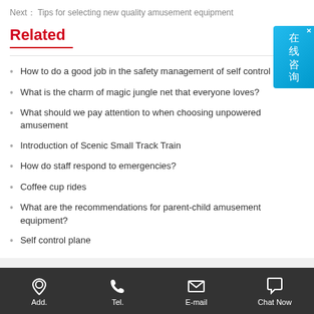Next： Tips for selecting new quality amusement equipment
Related
How to do a good job in the safety management of self control plane?
What is the charm of magic jungle net that everyone loves?
What should we pay attention to when choosing unpowered amusement
Introduction of Scenic Small Track Train
How do staff respond to emergencies?
Coffee cup rides
What are the recommendations for parent-child amusement equipment?
Self control plane
Add.   Tel.   E-mail   Chat Now